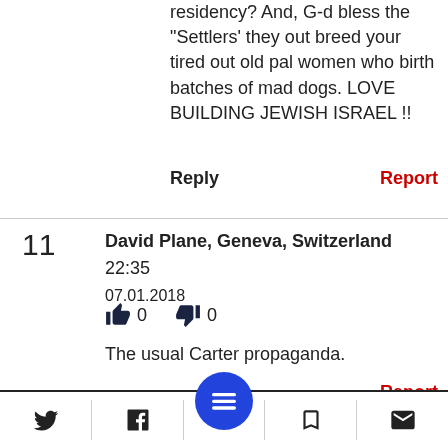residency? And, G-d bless the "Settlers' they out breed your tired out old pal women who birth batches of mad dogs. LOVE BUILDING JEWISH ISRAEL !!
Reply   Report
11   David Plane, Geneva, Switzerland   22:35 07.01.2018
👍 0   👎 0
The usual Carter propaganda.
Report
10   Josiah Jacob Ben David   22:35 07.01.2018